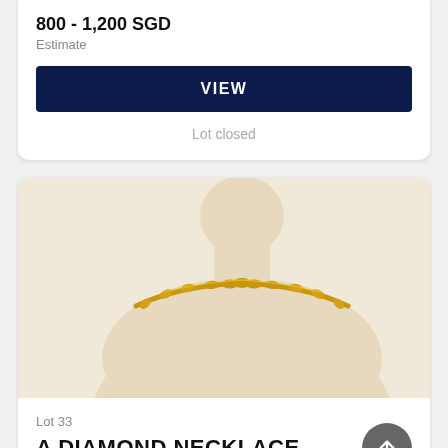800 - 1,200 SGD
Estimate
VIEW
Lot closed
[Figure (photo): A gold diamond necklace displayed on a cream-colored mannequin bust, showing a chain necklace with decorative gold links around the neckline.]
Lot 33
A DIAMOND NECKLACE